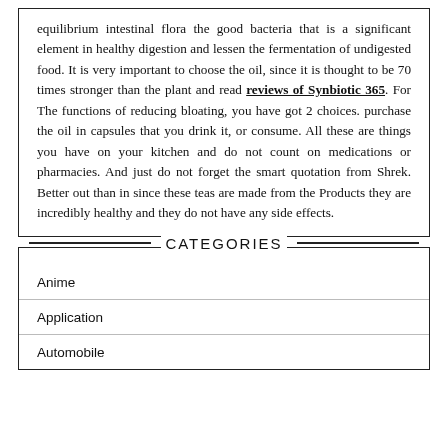equilibrium intestinal flora the good bacteria that is a significant element in healthy digestion and lessen the fermentation of undigested food. It is very important to choose the oil, since it is thought to be 70 times stronger than the plant and read reviews of Synbiotic 365. For The functions of reducing bloating, you have got 2 choices. purchase the oil in capsules that you drink it, or consume. All these are things you have on your kitchen and do not count on medications or pharmacies. And just do not forget the smart quotation from Shrek. Better out than in since these teas are made from the Products they are incredibly healthy and they do not have any side effects.
CATEGORIES
Anime
Application
Automobile